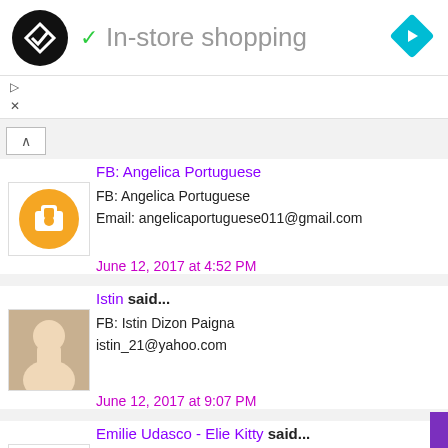In-store shopping
FB: Angelica Portuguese
Email: angelicaportuguese011@gmail.com
June 12, 2017 at 4:52 PM
Istin said...
FB: Istin Dizon Paigna
istin_21@yahoo.com
June 12, 2017 at 9:07 PM
Emilie Udasco - Elie Kitty said...
Emilie Udasco
eliecious@rocketmail.com
June 13, 2017 at 6:39 PM
Unknown said...